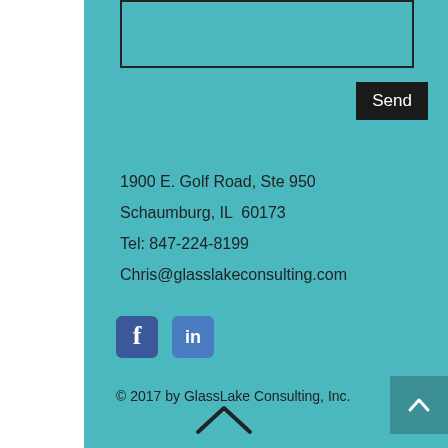[Figure (screenshot): Input text box with dark border at the top of the teal section]
[Figure (screenshot): Black 'Send' button]
1900 E. Golf Road, Ste 950
Schaumburg, IL  60173
Tel: 847-224-8199
Chris@glasslakeconsulting.com
[Figure (logo): Facebook and LinkedIn social media icons]
© 2017 by GlassLake Consulting, Inc.
[Figure (other): Back-to-top chevron arrow button (teal square, bottom right)]
[Figure (other): Bottom chevron/caret up arrow]